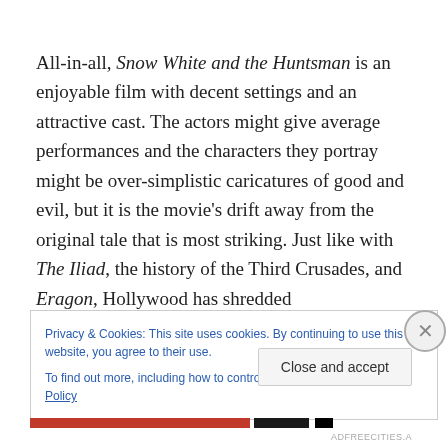All-in-all, Snow White and the Huntsman is an enjoyable film with decent settings and an attractive cast. The actors might give average performances and the characters they portray might be over-simplistic caricatures of good and evil, but it is the movie's drift away from the original tale that is most striking. Just like with The Iliad, the history of the Third Crusades, and Eragon, Hollywood has shredded
Privacy & Cookies: This site uses cookies. By continuing to use this website, you agree to their use.
To find out more, including how to control cookies, see here: Cookie Policy
Close and accept